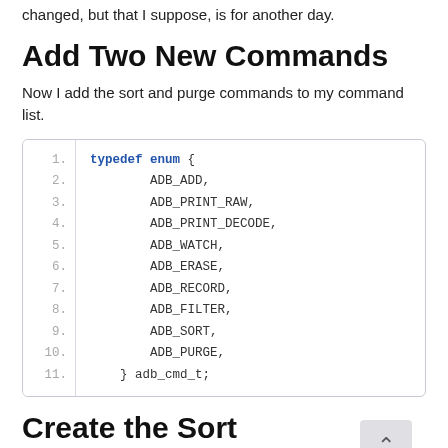changed, but that I suppose, is for another day.
Add Two New Commands
Now I add the sort and purge commands to my command list.
[Figure (screenshot): Code block showing a typedef enum in C with line numbers 1-11, listing ADB_ADD, ADB_PRINT_RAW, ADB_PRINT_DECODE, ADB_WATCH, ADB_ERASE, ADB_RECORD, ADB_FILTER, ADB_SORT, ADB_PURGE, and closing with adb_cmd_t.]
Create the Sort Functionality